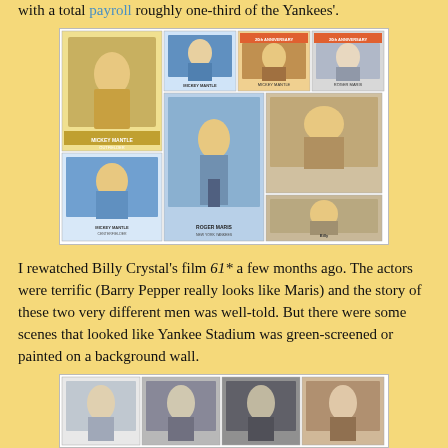with a total payroll roughly one-third of the Yankees'.
[Figure (photo): A collage of baseball cards featuring Mickey Mantle and Roger Maris in various poses and card designs from different eras.]
I rewatched Billy Crystal's film 61* a few months ago. The actors were terrific (Barry Pepper really looks like Maris) and the story of these two very different men was well-told. But there were some scenes that looked like Yankee Stadium was green-screened or painted on a background wall.
[Figure (photo): A row of baseball cards showing historical players in black and white and color photos.]